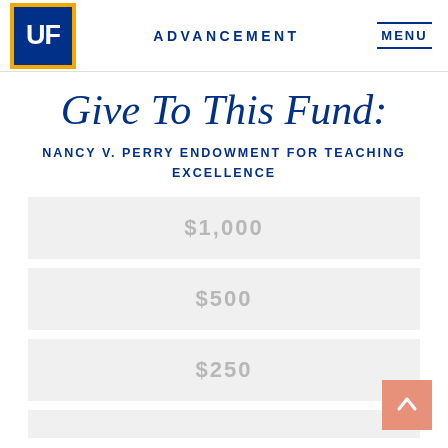UF ADVANCEMENT MENU
Give To This Fund:
NANCY V. PERRY ENDOWMENT FOR TEACHING EXCELLENCE
$1,000
$500
$250